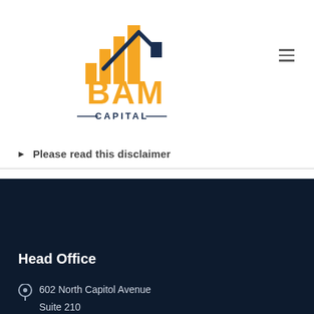[Figure (logo): BAM Capital logo with orange bar chart icon, navy house roofline, orange 'BAM' text and navy 'CAPITAL' text below]
▶ Please read this disclaimer
Head Office
602 North Capitol Avenue
Suite 210
Indianapolis, IN 46204